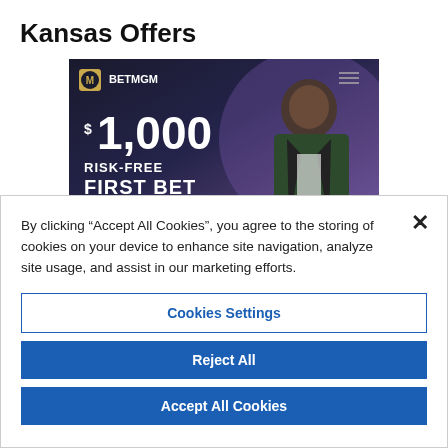Kansas Offers
[Figure (screenshot): BetMGM advertisement banner showing '$1,000 RISK-FREE FIRST BET' with a man in a dark suit on a purple-lit background]
By clicking “Accept All Cookies”, you agree to the storing of cookies on your device to enhance site navigation, analyze site usage, and assist in our marketing efforts.
Cookies Settings
Reject All
Accept All Cookies